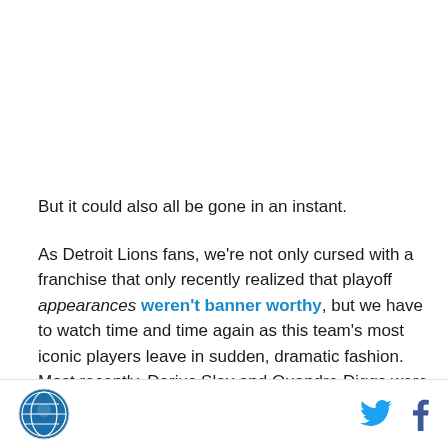But it could also all be gone in an instant.
As Detroit Lions fans, we're not only cursed with a franchise that only recently realized that playoff appearances weren't banner worthy, but we have to watch time and time again as this team's most iconic players leave in sudden, dramatic fashion. Most recently, Darius Slay and Quandre Diggs were unceremoniously booted out of town and still take
[logo] [twitter icon] [facebook icon]